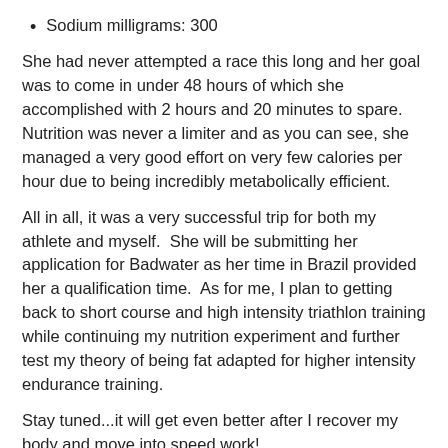Sodium milligrams: 300
She had never attempted a race this long and her goal was to come in under 48 hours of which she accomplished with 2 hours and 20 minutes to spare.  Nutrition was never a limiter and as you can see, she managed a very good effort on very few calories per hour due to being incredibly metabolically efficient.
All in all, it was a very successful trip for both my athlete and myself.  She will be submitting her application for Badwater as her time in Brazil provided her a qualification time.  As for me, I plan to getting back to short course and high intensity triathlon training while continuing my nutrition experiment and further test my theory of being fat adapted for higher intensity endurance training.
Stay tuned...it will get even better after I recover my body and move into speed work!
Coach Bob
Email